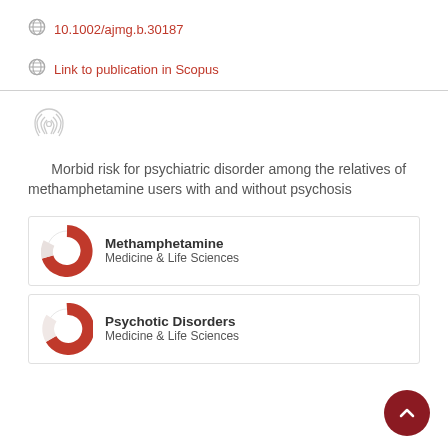10.1002/ajmg.b.30187
Link to publication in Scopus
Morbid risk for psychiatric disorder among the relatives of methamphetamine users with and without psychosis
Methamphetamine
Medicine & Life Sciences
Psychotic Disorders
Medicine & Life Sciences